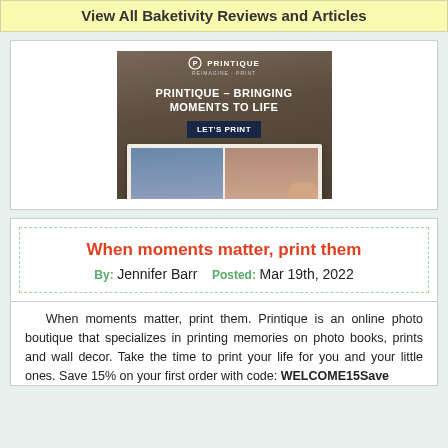View All Baketivity Reviews and Articles
[Figure (photo): Printique advertisement showing an open photo book with family photos on a wooden background. Text reads: PRINTIQUE - BRINGING MOMENTS TO LIFE with a button LET'S PRINT]
When moments matter, print them
By: Jennifer Barr   Posted: Mar 19th, 2022
When moments matter, print them. Printique is an online photo boutique that specializes in printing memories on photo books, prints and wall decor. Take the time to print your life for you and your little ones. Save 15% on your first order with code: WELCOME15Save